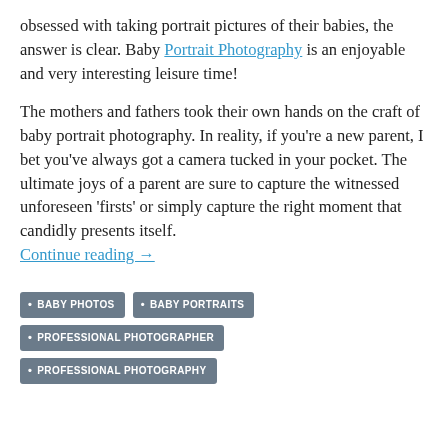obsessed with taking portrait pictures of their babies, the answer is clear. Baby Portrait Photography is an enjoyable and very interesting leisure time!
The mothers and fathers took their own hands on the craft of baby portrait photography. In reality, if you're a new parent, I bet you've always got a camera tucked in your pocket. The ultimate joys of a parent are sure to capture the witnessed unforeseen 'firsts' or simply capture the right moment that candidly presents itself. Continue reading →
BABY PHOTOS
BABY PORTRAITS
PROFESSIONAL PHOTOGRAPHER
PROFESSIONAL PHOTOGRAPHY